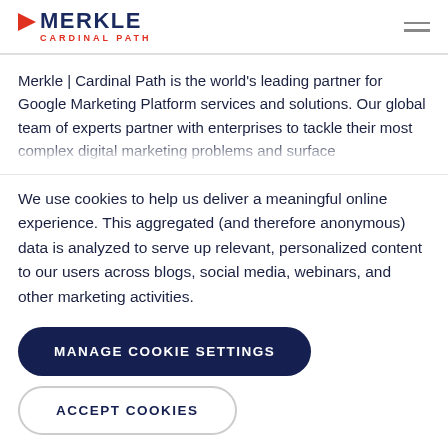MERKLE | CARDINAL PATH
Merkle | Cardinal Path is the world's leading partner for Google Marketing Platform services and solutions. Our global team of experts partner with enterprises to tackle their most complex digital marketing problems and surface
We use cookies to help us deliver a meaningful online experience. This aggregated (and therefore anonymous) data is analyzed to serve up relevant, personalized content to our users across blogs, social media, webinars, and other marketing activities.
MANAGE COOKIE SETTINGS
ACCEPT COOKIES